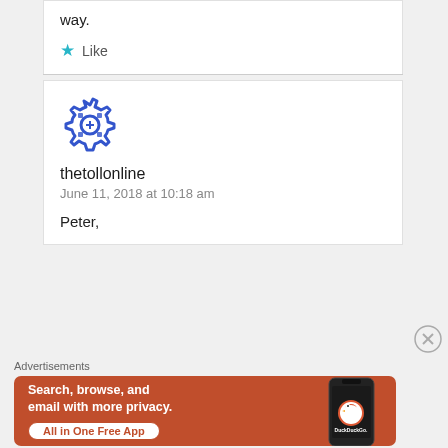way.
★ Like
[Figure (logo): Blue gear/cog avatar icon for user thetollonline]
thetollonline
June 11, 2018 at 10:18 am
Peter,
Advertisements
[Figure (illustration): DuckDuckGo advertisement banner: Search, browse, and email with more privacy. All in One Free App. Shows a phone with DuckDuckGo logo.]